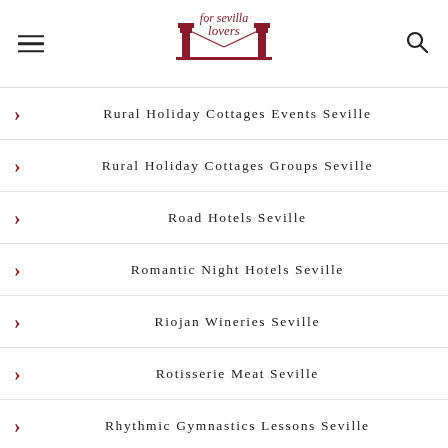for sevilla lovers
Rural Holiday Cottages Events Seville
Rural Holiday Cottages Groups Seville
Road Hotels Seville
Romantic Night Hotels Seville
Riojan Wineries Seville
Rotisserie Meat Seville
Rhythmic Gymnastics Lessons Seville
Recycling Classes Seville